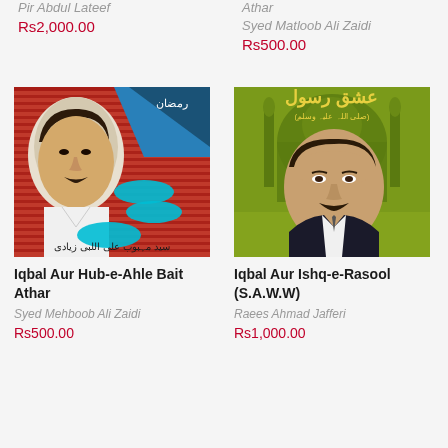Pir Abdul Lateef
Rs2,000.00
Athar
Syed Matloob Ali Zaidi
Rs500.00
[Figure (photo): Book cover: Iqbal Aur Hub-e-Ahle Bait Athar - artistic illustration with a man's face profile, red striped pattern and teal oval shapes]
[Figure (photo): Book cover: Iqbal Aur Ishq-e-Rasool (S.A.W.W) - green cover with mosque dome, Arabic calligraphy at top, portrait of Allama Iqbal]
Iqbal Aur Hub-e-Ahle Bait Athar
Syed Mehboob Ali Zaidi
Rs500.00
Iqbal Aur Ishq-e-Rasool (S.A.W.W)
Raees Ahmad Jafferi
Rs1,000.00